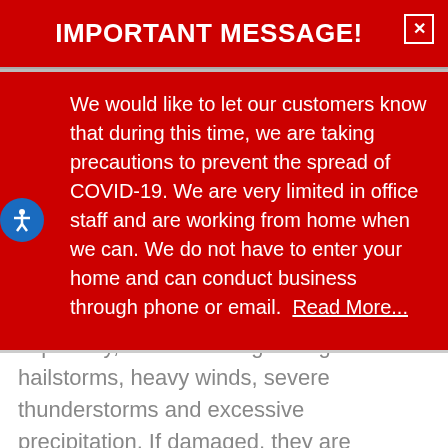IMPORTANT MESSAGE!
We would like to let our customers know that during this time, we are taking precautions to prevent the spread of COVID-19. We are very limited in office staff and are working from home when we can. We do not have to enter your home and can conduct business through phone or email.  Read More...
especially, take a beating during hailstorms, heavy winds, severe thunderstorms and excessive precipitation. If damaged, they are susceptible to leaking, causing water damage to your home and possessions.